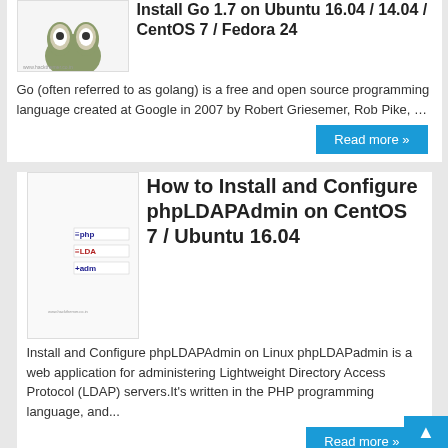Install Go 1.7 on Ubuntu 16.04 / 14.04 / CentOS 7 / Fedora 24 Go (often referred to as golang) is a free and open source programming language created at Google in 2007 by Robert Griesemer, Rob Pike, …
Read more »
[Figure (illustration): Thumbnail with date badge: 30 Nov 2016, phpLDAPAdmin logo]
How to Install and Configure phpLDAPAdmin on CentOS 7 / Ubuntu 16.04
Install and Configure phpLDAPAdmin on Linux phpLDAPadmin is a web application for administering Lightweight Directory Access Protocol (LDAP) servers.It's written in the PHP programming language, and...
Read more »
[Figure (illustration): Thumbnail with date badge: 29 Nov 2016, ant/GlusterFS illustration]
How to Install and Configure GlusterFS on Ubuntu 16.04 / Debian 8
Install and Configure